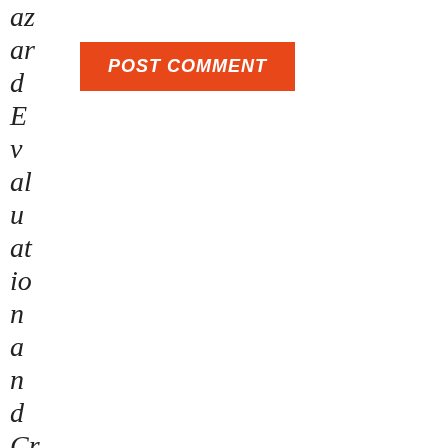az ar d E v al u at io n a n d Cr u ci al M a n a g e m e nt L e
[Figure (other): Orange/red button labeled POST COMMENT in white bold italic text]